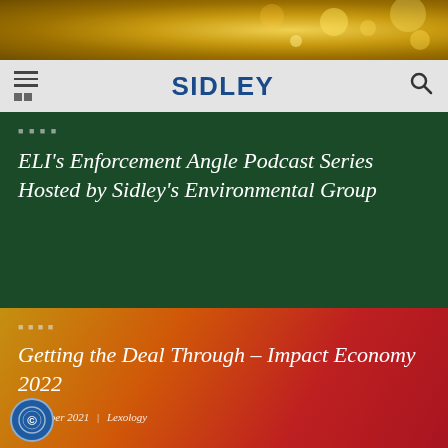[Figure (photo): Gold bokeh background banner at top of page]
SIDLEY
[Figure (photo): Dark green card with text: ELI's Enforcement Angle Podcast Series Hosted by Sidley's Environmental Group]
ELI’s Enforcement Angle Podcast Series Hosted by Sidley’s Environmental Group
[Figure (photo): Orange to red gradient card with text: Getting the Deal Through – Impact Economy 2022, September 2021 | Lexology]
Getting the Deal Through – Impact Economy 2022
September 2021 | Lexology